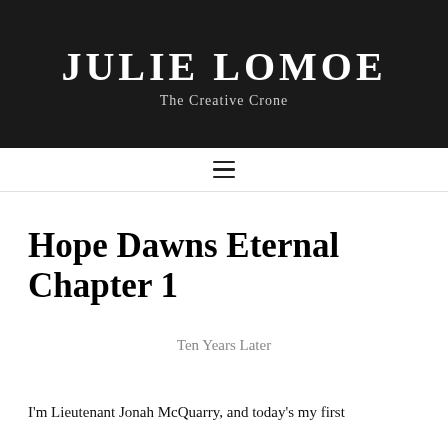Julie Lomoe
The Creative Crone
Hope Dawns Eternal Chapter 1
Ten Years Later
I'm Lieutenant Jonah McQuarry, and today's my first